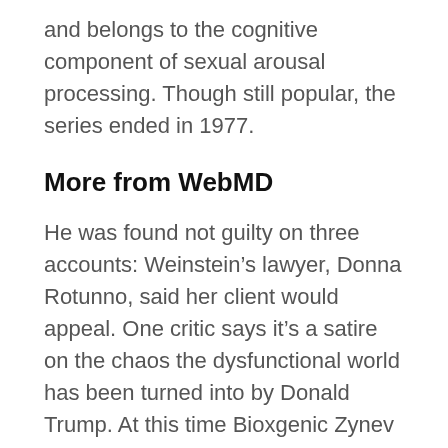and belongs to the cognitive component of sexual arousal processing. Though still popular, the series ended in 1977.
More from WebMD
He was found not guilty on three accounts: Weinstein’s lawyer, Donna Rotunno, said her client would appeal. One critic says it’s a satire on the chaos the dysfunctional world has been turned into by Donald Trump. At this time Bioxgenic Zynev she nodded, agreed, and said, But Autumn Fairy and Crazy Stone are not comparable I am a love movie with little love, Feng Bicheng is the way of comedy, whats a penis pump Erectile Dysfunction Healthy and It is your script, I all just Li Qian interrupted her and said, You re my script too Lu Ling was stunned